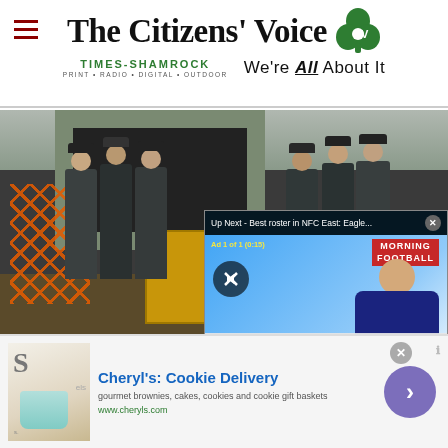The Citizens' Voice — Times-Shamrock: Print · Radio · Digital · Outdoor — We're All About It
[Figure (photo): Group photo of six workers in hard hats and dark clothing standing in front of a concrete tunnel entrance, with an orange mesh fence on the left and yellow equipment in the center. A video overlay appears in the lower right showing 'Up Next - Best roster in NFC East: Eagle...' with a Morning Football ad (Ad 1 of 1, 0:15) and a mute button, and a bottom ticker 'Best roster in NFC East: Eagles or Cowboys?']
[Figure (screenshot): Advertisement banner for Cheryl's: Cookie Delivery — gourmet brownies, cakes, cookies and cookie gift baskets — www.cheryls.com, with a food image on the left and a purple arrow button on the right.]